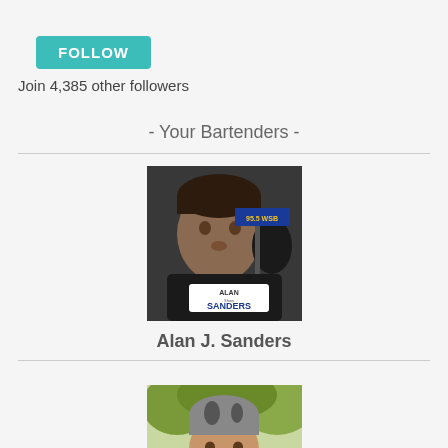FOLLOW
Join 4,385 other followers
- Your Bartenders -
[Figure (photo): Photo of Alan J. Sanders at a radio microphone with 95.5 WSB logo visible, and Alan Sanders Show logo overlay at bottom]
Alan J. Sanders
[Figure (photo): Photo of a man with grey and dark hair smiling outdoors]